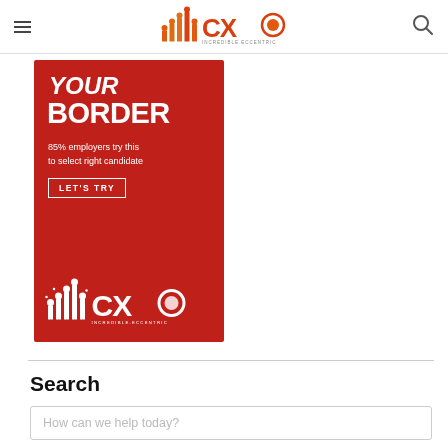CXO INCREDIBLE.ECCENTRIC
[Figure (illustration): Red advertisement banner for CXO platform. Shows bold white text 'YOUR BORDER' at top, followed by '85% employers try this to select right candidate', a 'LET'S TRY' button with white border, and the CXO Incredible Eccentric logo at the bottom in white.]
Search
How can we help today?